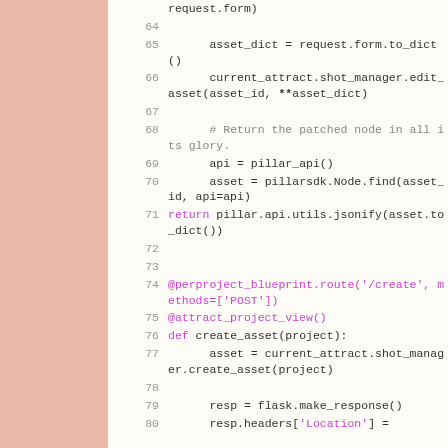Code listing lines 64-80: Python source code showing asset editing and creation functions with decorators, including edit_asset and create_asset methods using Flask and Pillar SDK.